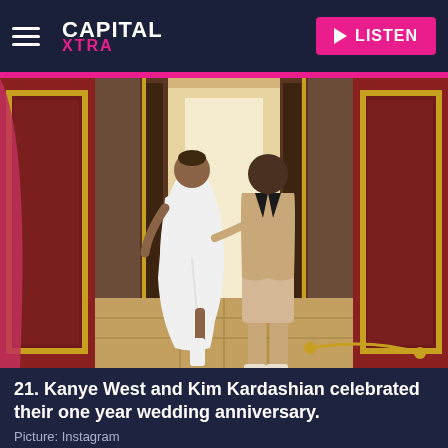Capital Xtra | LISTEN
[Figure (photo): Kim Kardashian in a white dress and Kanye West in a beige suit walking together through grand ornate doors in an opulent room with red and gold walls.]
21. Kanye West and Kim Kardashian celebrated their one year wedding anniversary.
Picture: Instagram